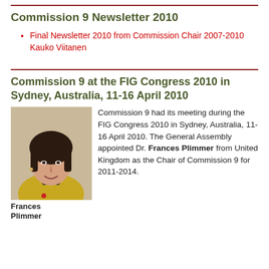Commission 9 Newsletter 2010
Final Newsletter 2010 from Commission Chair 2007-2010 Kauko Viitanen
Commission 9 at the FIG Congress 2010 in Sydney, Australia, 11-16 April 2010
[Figure (photo): Portrait photo of Frances Plimmer, a woman with short dark hair wearing a yellow jacket and black turtleneck]
Frances Plimmer
Commission 9 had its meeting during the FIG Congress 2010 in Sydney, Australia, 11-16 April 2010. The General Assembly appointed Dr. Frances Plimmer from United Kingdom as the Chair of Commission 9 for 2011-2014.